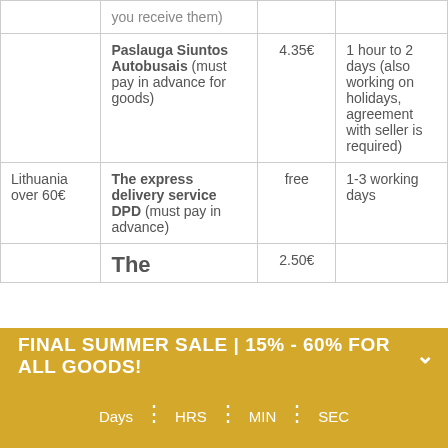| Region | Service | Price | Delivery time |
| --- | --- | --- | --- |
|  | Paslauga Siuntos Autobusais (must pay in advance for goods) | 4.35€ | 1 hour to 2 days (also working on holidays, agreement with seller is required) |
| Lithuania over 60€ | The express delivery service DPD (must pay in advance) | free | 1-3 working days |
|  | The... | 2.50€ |  |
We use cookies to track usage and preferences
FINAL SUMMER SALE | 15% - 60% FOR ALL GOODS!
Days : HRS : MIN : SEC